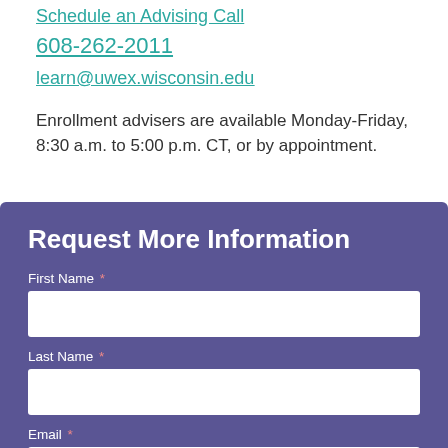Schedule an Advising Call
608-262-2011
learn@uwex.wisconsin.edu
Enrollment advisers are available Monday-Friday, 8:30 a.m. to 5:00 p.m. CT, or by appointment.
Request More Information
First Name *
Last Name *
Email *